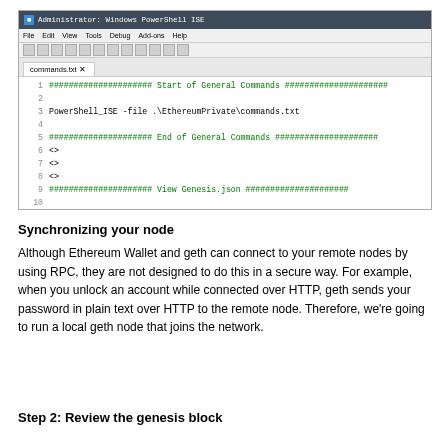[Figure (screenshot): Windows PowerShell ISE screenshot showing a commands.txt file with lines: line 1: ##################### Start of General Commands #####################, line 2: (blank), line 3: PowerShell_ISE -file .\EthereumPrivate\commands.txt, line 4: (blank), line 5: ##################### End of General Commands #####################, line 6: <>, line 7: <>, line 8: <>, line 9: ##################### View Genesis.json #####################, line 10: (blank), line 11: (partial, scrolled off). Console pane shows: PS C:\Users\Administrator> |]
Synchronizing your node
Although Ethereum Wallet and geth can connect to your remote nodes by using RPC, they are not designed to do this in a secure way. For example, when you unlock an account while connected over HTTP, geth sends your password in plain text over HTTP to the remote node. Therefore, we're going to run a local geth node that joins the network.
Step 2: Review the genesis block